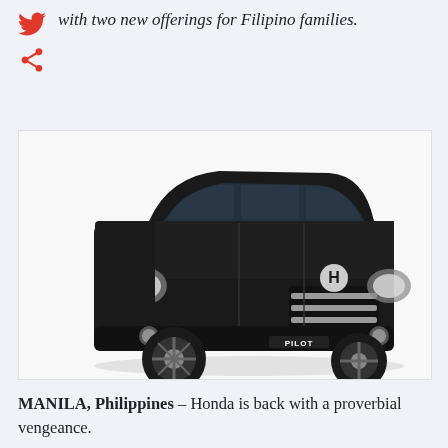with two new offerings for Filipino families.
[Figure (photo): Black Honda Pilot SUV photographed from a front three-quarter angle on a white background, with 'PILOT' badge visible on the front bumper.]
MANILA, Philippines – Honda is back with a proverbial vengeance.